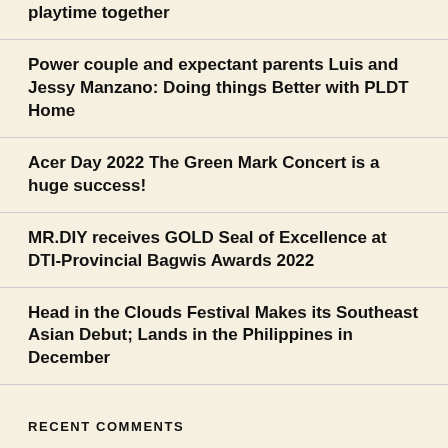playtime together
Power couple and expectant parents Luis and Jessy Manzano: Doing things Better with PLDT Home
Acer Day 2022 The Green Mark Concert is a huge success!
MR.DIY receives GOLD Seal of Excellence at DTI-Provincial Bagwis Awards 2022
Head in the Clouds Festival Makes its Southeast Asian Debut; Lands in the Philippines in December
RECENT COMMENTS